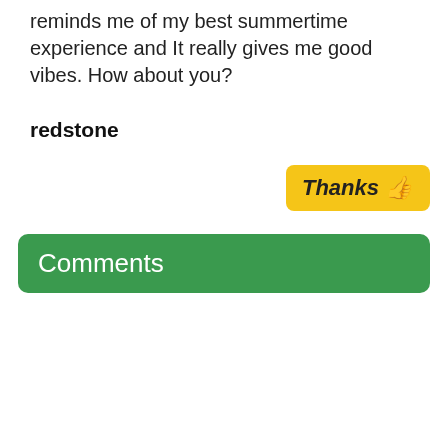reminds me of my best summertime experience and It really gives me good vibes. How about you?
redstone
Thanks 👍
Comments